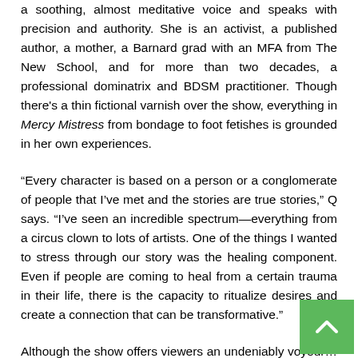a soothing, almost meditative voice and speaks with precision and authority. She is an activist, a published author, a mother, a Barnard grad with an MFA from The New School, and for more than two decades, a professional dominatrix and BDSM practitioner. Though there's a thin fictional varnish over the show, everything in Mercy Mistress from bondage to foot fetishes is grounded in her own experiences.
“Every character is based on a person or a conglomerate of people that I’ve met and the stories are true stories,” Q says. “I’ve seen an incredible spectrum—everything from a circus clown to lots of artists. One of the things I wanted to stress through our story was the healing component. Even if people are coming to heal from a certain trauma in their life, there is the capacity to ritualize desires and create a connection that can be transformative.”
Although the show offers viewers an undeniably voyeur… pleasure, Q hopes that it transcends mere entertainment…